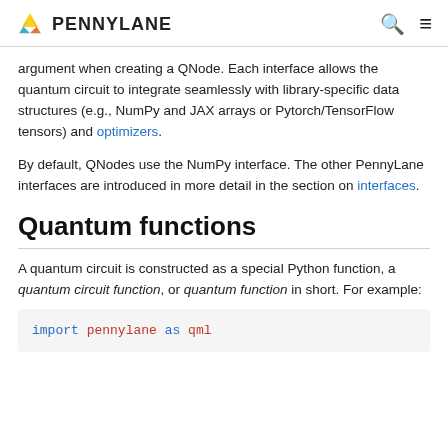PENNYLANE
argument when creating a QNode. Each interface allows the quantum circuit to integrate seamlessly with library-specific data structures (e.g., NumPy and JAX arrays or Pytorch/TensorFlow tensors) and optimizers.
By default, QNodes use the NumPy interface. The other PennyLane interfaces are introduced in more detail in the section on interfaces.
Quantum functions
A quantum circuit is constructed as a special Python function, a quantum circuit function, or quantum function in short. For example:
import pennylane as qml